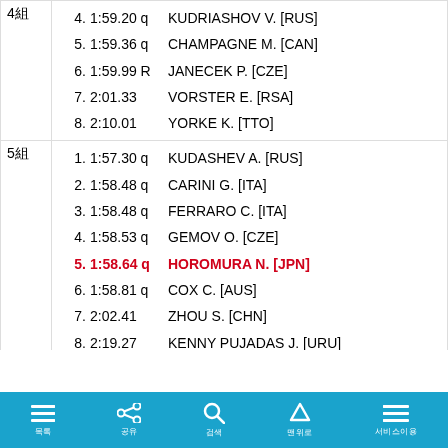| Heat | Pos | Time | Flag | Name |
| --- | --- | --- | --- | --- |
| 4組 | 4. | 1:59.20 q |  | KUDRIASHOV V. [RUS] |
|  | 5. | 1:59.36 q |  | CHAMPAGNE M. [CAN] |
|  | 6. | 1:59.99 R |  | JANECEK P. [CZE] |
|  | 7. | 2:01.33 |  | VORSTER E. [RSA] |
|  | 8. | 2:10.01 |  | YORKE K. [TTO] |
| 5組 | 1. | 1:57.30 q |  | KUDASHEV A. [RUS] |
|  | 2. | 1:58.48 q |  | CARINI G. [ITA] |
|  | 3. | 1:58.48 q |  | FERRARO C. [ITA] |
|  | 4. | 1:58.53 q |  | GEMOV O. [CZE] |
|  | 5. | 1:58.64 q |  | HOROMURA N. [JPN] |
|  | 6. | 1:58.81 q |  | COX C. [AUS] |
|  | 7. | 2:02.41 |  | ZHOU S. [CHN] |
|  | 8. | 2:19.27 |  | KENNY PUJADAS J. [URU] |
목록 | 공유 | 검색 | 맨위로 | 서비스이용